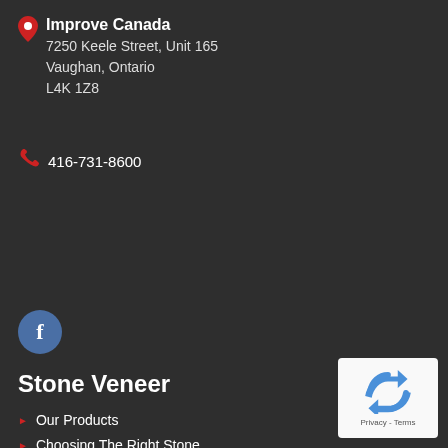Improve Canada
7250 Keele Street, Unit 165
Vaughan, Ontario
L4K 1Z8
416-731-8600
[Figure (logo): Facebook circular blue icon with letter f]
Stone Veneer
Our Products
Choosing The Right Stone
How To Install
[Figure (logo): reCAPTCHA logo with Privacy - Terms text below]